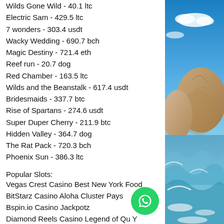Wilds Gone Wild - 40.1 ltc
Electric Sam - 429.5 ltc
7 wonders - 303.4 usdt
Wacky Wedding - 690.7 bch
Magic Destiny - 721.4 eth
Reef run - 20.7 dog
Red Chamber - 163.5 ltc
Wilds and the Beanstalk - 617.4 usdt
Bridesmaids - 337.7 btc
Rise of Spartans - 274.6 usdt
Super Duper Cherry - 211.9 btc
Hidden Valley - 364.7 dog
The Rat Pack - 720.3 bch
Phoenix Sun - 386.3 ltc
Popular Slots:
Vegas Crest Casino Best New York Food
BitStarz Casino Aloha Cluster Pays
Bspin.io Casino Jackpotz
Diamond Reels Casino Legend of Qu Y
[Figure (photo): Coastal rocky beach scene with blue sky, large granite boulders and waves, likely Seychelles or similar tropical location]